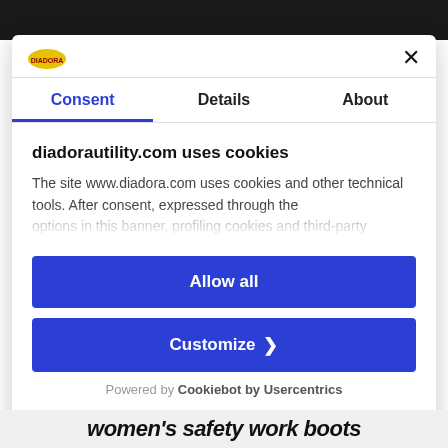[Figure (screenshot): Cookie consent modal dialog for diadorautility.com with Diadora logo, tabs (Consent, Details, About), cookie notice text, Allow all button, Customize button, and Cookiebot by Usercentrics footer.]
Consent | Details | About
diadorautility.com uses cookies
The site www.diadora.com uses cookies and other technical tools. After consent, expressed through the options in this banner, profiling cookies and third-party
Allow all
Customize
Powered by Cookiebot by Usercentrics